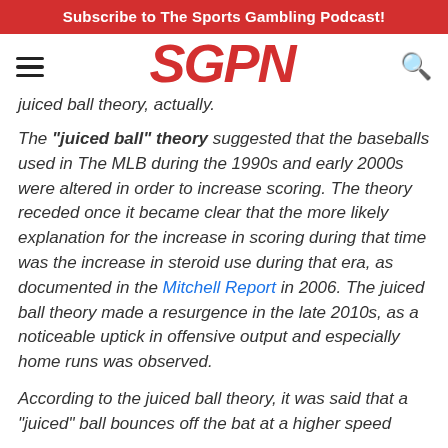Subscribe to The Sports Gambling Podcast!
SGPN
juiced ball theory, actually.
The "juiced ball" theory suggested that the baseballs used in The MLB during the 1990s and early 2000s were altered in order to increase scoring. The theory receded once it became clear that the more likely explanation for the increase in scoring during that time was the increase in steroid use during that era, as documented in the Mitchell Report in 2006. The juiced ball theory made a resurgence in the late 2010s, as a noticeable uptick in offensive output and especially home runs was observed.
According to the juiced ball theory, it was said that a "juiced" ball bounces off the bat at a higher speed